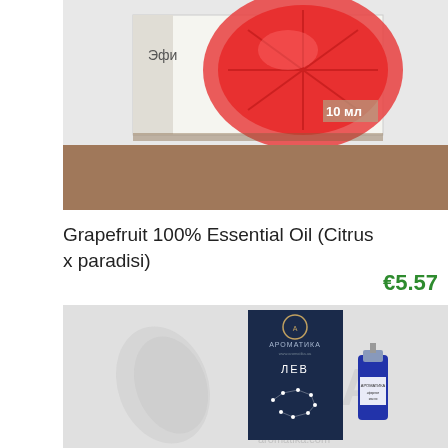[Figure (photo): Product photo of grapefruit essential oil box with a grapefruit image and text '10 мл' showing Эфи(рное масло) on the box, placed on a wooden surface]
Grapefruit 100% Essential Oil (Citrus x paradisi)
€5.57
[Figure (photo): Product photo of Aromatika (Ароматика) zodiac Leo (ЛЕВ) essential oil with dark blue box showing a lion constellation graphic, alongside a small blue glass bottle with Aromatika label. Watermark 'aromatika.com' visible.]